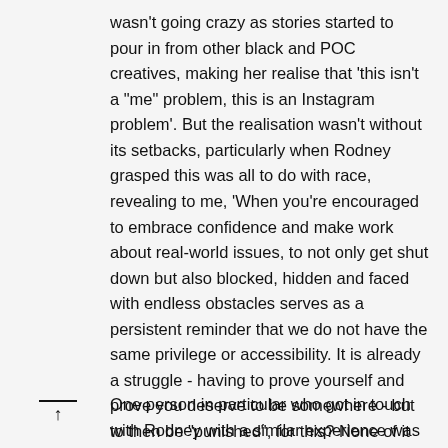wasn't going crazy as stories started to pour in from other black and POC creatives, making her realise that 'this isn't a "me" problem, this is an Instagram problem'. But the realisation wasn't without its setbacks, particularly when Rodney grasped this was all to do with race, revealing to me, 'When you're encouraged to embrace confidence and make work about real-world issues, to not only get shut down but also blocked, hidden and faced with endless obstacles serves as a persistent reminder that we do not have the same privilege or accessibility. It is already a struggle - having to prove yourself and prove you deserve to be somewhere - but to then be "punished", for this? None of it makes a shred of sense.'
One person in particular who got in touch with Rodney with a similar experience was London-